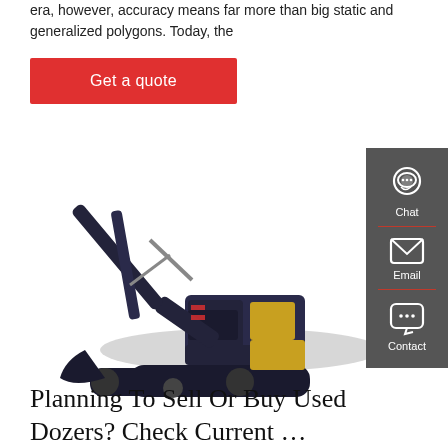era, however, accuracy means far more than big static and generalized polygons. Today, the
Get a quote
[Figure (photo): A Hyundai excavator with dark blue/black body and yellow cab, shown in profile view on a white background.]
[Figure (infographic): Dark grey sidebar with Chat, Email, and Contact icons and labels, separated by red dividers.]
Planning To Sell Or Buy Used Dozers? Check Current …